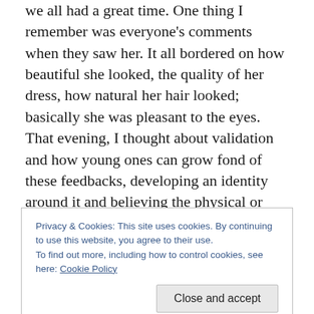we all had a great time.  One thing I remember was everyone's comments when they saw her.  It all bordered on how beautiful she looked, the quality of her dress, how natural her hair looked; basically she was pleasant to the eyes.  That evening, I thought about validation and how young ones can grow fond of these feedbacks, developing an identity around it and believing the physical or surface is all they are.  So they focus on that and become great actors and actresses just to keep the attention flowing.  Maybe this is evident in the current state of the world with the prevalent attention on the surface and material.  I
Privacy & Cookies: This site uses cookies. By continuing to use this website, you agree to their use. To find out more, including how to control cookies, see here: Cookie Policy
about your own journey…